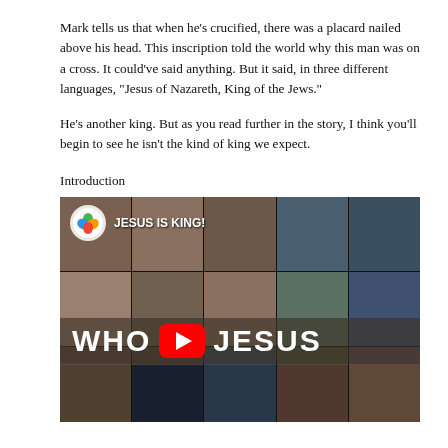Mark tells us that when he’s crucified, there was a placard nailed above his head. This inscription told the world why this man was on a cross. It could’ve said anything.  But it said, in three different languages, “Jesus of Nazareth, King of the Jews.”
He’s another king. But as you read further in the story, I think you’ll begin to see he isn’t the kind of king we expect.
Introduction
[Figure (screenshot): YouTube video thumbnail showing a collage of images of Jesus with text overlay reading 'WHO JESUS IS KING!' with a red YouTube play button in the center]